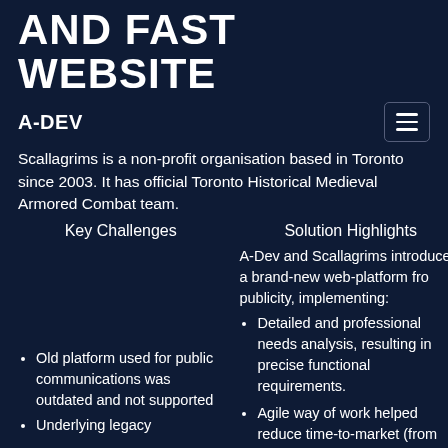AND FAST WEBSITE
A-DEV
Scallagrims is a non-profit organisation based in Toronto since 2003. It has official Toronto Historical Medieval Armored Combat team.
Key Challenges
Solution Highlights
A-Dev and Scallagrims introduced a brand-new web-platform fro publicity, implementing:
Detailed and professional needs analysis, resulting in precise functional requirements.
Agile way of work helped reduce time-to-market (from expected 3.5
Old platform used for public communications was outdated and not supported
Underlying legacy